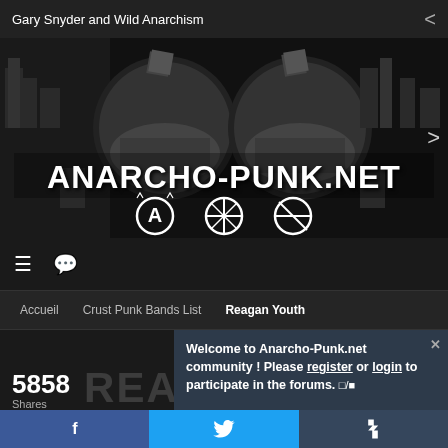Gary Snyder and Wild Anarchism
[Figure (illustration): Anarcho-Punk.net banner: black and white illustration featuring two helmeted figures, crowds, and text 'ANARCHO-PUNK.NET' with anarchist symbols (anarchy A, peace symbol, crossed circle)]
≡  💬
Accueil   Crust Punk Bands List   Reagan Youth
Welcome to Anarcho-Punk.net community ! Please register or login to participate in the forums. 🔲/🔳
5858
Shares
f  𝕗  t